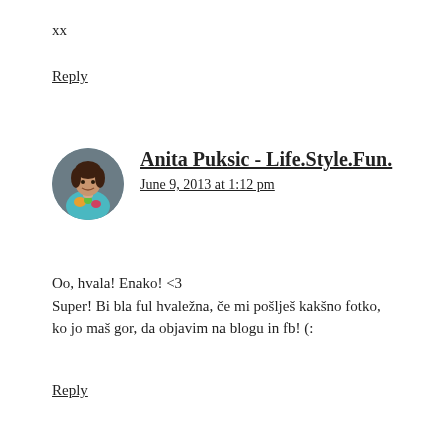xx
Reply
[Figure (photo): Circular avatar photo of Anita Puksic, a woman wearing a colorful floral top]
Anita Puksic - Life.Style.Fun.
June 9, 2013 at 1:12 pm
Oo, hvala! Enako! <3
Super! Bi bla ful hvaležna, če mi pošlješ kakšno fotko, ko jo maš gor, da objavim na blogu in fb! (:
Reply